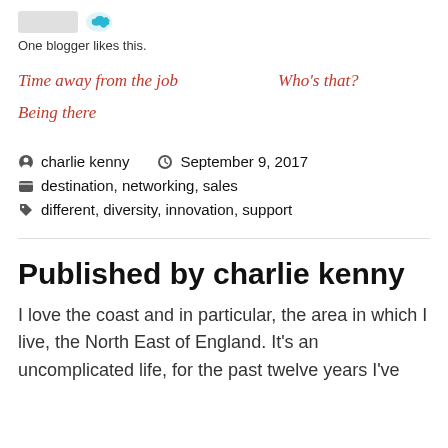One blogger likes this.
Time away from the job    Who's that?
Being there
charlie kenny   September 9, 2017
destination, networking, sales
different, diversity, innovation, support
Published by charlie kenny
I love the coast and in particular, the area in which I live, the North East of England. It's an uncomplicated life, for the past twelve years I've